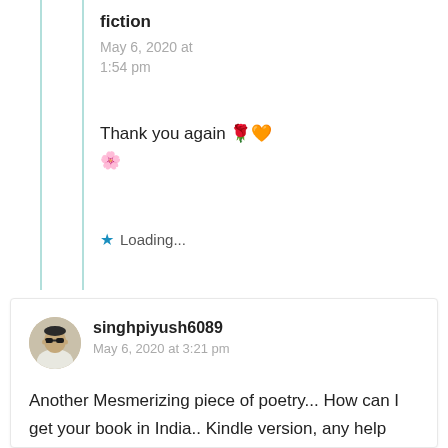fiction
May 6, 2020 at 1:54 pm
Thank you again 🌹🧡 🌸
Loading...
[Figure (photo): Avatar photo of singhpiyush6089 — young man with sunglasses, circular crop]
singhpiyush6089
May 6, 2020 at 3:21 pm
Another Mesmerizing piece of poetry... How can I get your book in India.. Kindle version, any help